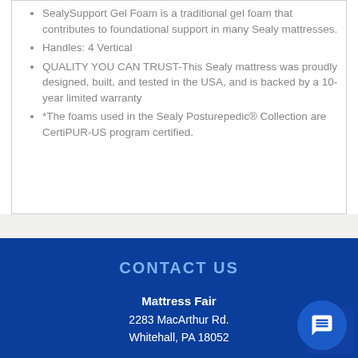SealySupport Gel Foam is a traditional gel foam that contributes to foundational support in many Sealy mattresses.
Handles: 4 Vertical
QUALITY YOU CAN TRUST-This Sealy mattress was proudly designed, built, and tested in the USA, and is backed by a 10-year limited warranty
*The foams used in the Sealy Posturepedic® Collection are CertiPUR-US program certified.
CONTACT US
Mattress Fair
2283 MacArthur Rd.
Whitehall, PA 18052